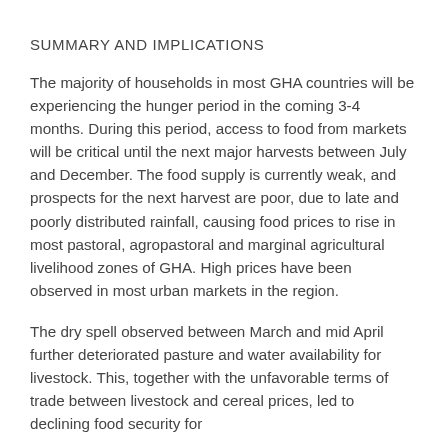SUMMARY AND IMPLICATIONS
The majority of households in most GHA countries will be experiencing the hunger period in the coming 3-4 months. During this period, access to food from markets will be critical until the next major harvests between July and December. The food supply is currently weak, and prospects for the next harvest are poor, due to late and poorly distributed rainfall, causing food prices to rise in most pastoral, agropastoral and marginal agricultural livelihood zones of GHA. High prices have been observed in most urban markets in the region.
The dry spell observed between March and mid April further deteriorated pasture and water availability for livestock. This, together with the unfavorable terms of trade between livestock and cereal prices, led to declining food security for